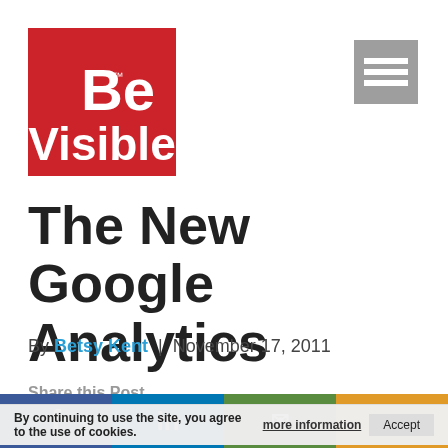[Figure (logo): BeVisible logo — red square with white bold text 'Be Visible' and TM mark]
[Figure (other): Hamburger/menu icon — grey square with three horizontal lines]
The New Google Analytics
By Betsy Kent | November 17, 2011
Share this Post
By continuing to use the site, you agree to the use of cookies.
more information   Accept